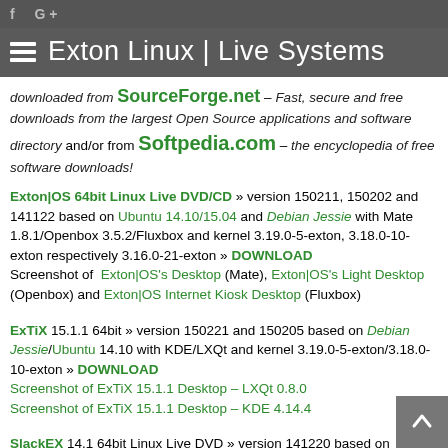Exton Linux | Live Systems
downloaded from SourceForge.net – Fast, secure and free downloads from the largest Open Source applications and software directory and/or from Softpedia.com – the encyclopedia of free software downloads!
Exton|OS 64bit Linux Live DVD/CD » version 150211, 150202 and 141122 based on Ubuntu 14.10/15.04 and Debian Jessie with Mate 1.8.1/Openbox 3.5.2/Fluxbox and kernel 3.19.0-5-exton, 3.18.0-10-exton respectively 3.16.0-21-exton » DOWNLOAD Screenshot of Exton|OS's Desktop (Mate), Exton|OS's Light Desktop (Openbox) and Exton|OS Internet Kiosk Desktop (Fluxbox)
ExTiX 15.1.1 64bit » version 150221 and 150205 based on Debian Jessie/Ubuntu 14.10 with KDE/LXQt and kernel 3.19.0-5-exton/3.18.0-10-exton » DOWNLOAD Screenshot of ExTiX 15.1.1 Desktop – LXQt 0.8.0 Screenshot of ExTiX 15.1.1 Desktop – KDE 4.14.4
SlackEX 14.1 64bit Linux Live DVD » version 141220 based on Slackware 14.1 with KDE 4.10.5 and kernel 3.18.1-x86_64-exton » DOWNLOAD Screenshot of SlackEX's Desktop
Exton|Defender Linux Super Rescue System version 150108 – 64-bit – based on Fedora 21 with Cinnamon 2.4.5 and version 1401...